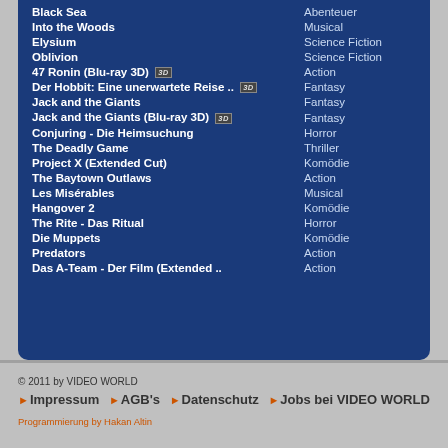| Title | Genre |
| --- | --- |
| Black Sea | Abenteuer |
| Into the Woods | Musical |
| Elysium | Science Fiction |
| Oblivion | Science Fiction |
| 47 Ronin (Blu-ray 3D) [3D] | Action |
| Der Hobbit: Eine unerwartete Reise .. [3D] | Fantasy |
| Jack and the Giants | Fantasy |
| Jack and the Giants (Blu-ray 3D) [3D] | Fantasy |
| Conjuring - Die Heimsuchung | Horror |
| The Deadly Game | Thriller |
| Project X (Extended Cut) | Komödie |
| The Baytown Outlaws | Action |
| Les Misérables | Musical |
| Hangover 2 | Komödie |
| The Rite - Das Ritual | Horror |
| Die Muppets | Komödie |
| Predators | Action |
| Das A-Team - Der Film (Extended .. | Action |
© 2011 by VIDEO WORLD | Impressum | AGB's | Datenschutz | Jobs bei VIDEO WORLD | Programmierung by Hakan Altin